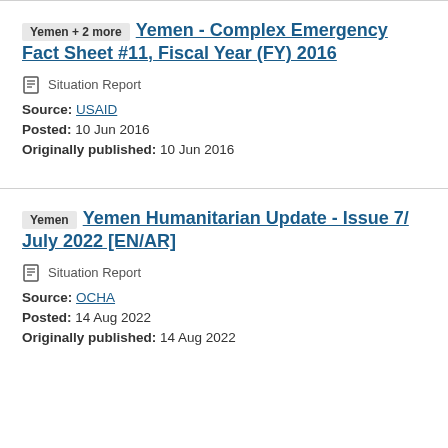Yemen + 2 more  Yemen - Complex Emergency Fact Sheet #11, Fiscal Year (FY) 2016
Situation Report
Source: USAID
Posted: 10 Jun 2016
Originally published: 10 Jun 2016
Yemen  Yemen Humanitarian Update - Issue 7/ July 2022 [EN/AR]
Situation Report
Source: OCHA
Posted: 14 Aug 2022
Originally published: 14 Aug 2022